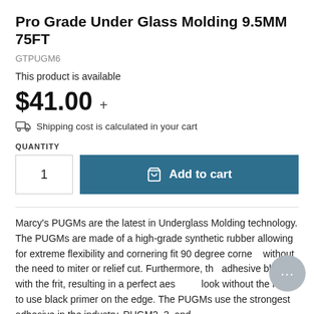Pro Grade Under Glass Molding 9.5MM 75FT
GTPUGM6
This product is available
$41.00  +
Shipping cost is calculated in your cart
QUANTITY
1
Add to cart
Marcy's PUGMs are the latest in Underglass Molding technology. The PUGMs are made of a high-grade synthetic rubber allowing for extreme flexibility and cornering fit 90 degree corners without the need to miter or relief cut. Furthermore, the adhesive blends with the frit, resulting in a perfect aesthetic look without the need to use black primer on the edge. The PUGMs use the strongest adhesive in the industry. PUGM2, 3, and